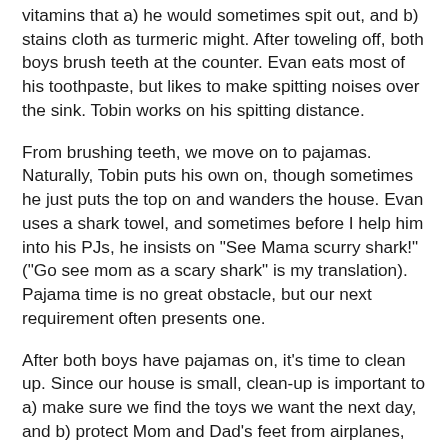vitamins that a) he would sometimes spit out, and b) stains cloth as turmeric might. After toweling off, both boys brush teeth at the counter. Evan eats most of his toothpaste, but likes to make spitting noises over the sink. Tobin works on his spitting distance.
From brushing teeth, we move on to pajamas. Naturally, Tobin puts his own on, though sometimes he just puts the top on and wanders the house. Evan uses a shark towel, and sometimes before I help him into his PJs, he insists on "See Mama scurry shark!" ("Go see mom as a scary shark" is my translation). Pajama time is no great obstacle, but our next requirement often presents one.
After both boys have pajamas on, it's time to clean up. Since our house is small, clean-up is important to a) make sure we find the toys we want the next day, and b) protect Mom and Dad's feet from airplanes, legos, and other miniature toys that magically seek out the arches of our bare feet after the boys have retired. Tobin understands the necessity of clean-up time, but has lately been struggling with Ev's intermittent participation. A sample conversation goes like this: